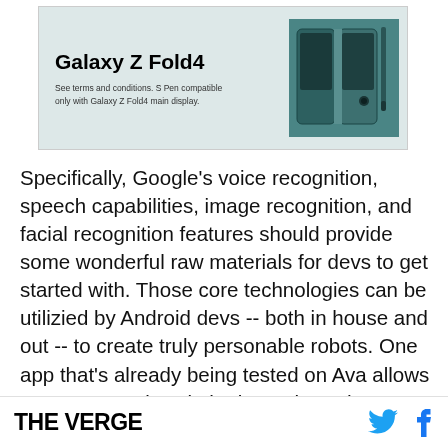[Figure (other): Samsung Galaxy Z Fold4 advertisement banner with teal/dark green phone image on the right and text on the left reading 'Galaxy Z Fold4' with subtitle 'See terms and conditions. S Pen compatible only with Galaxy Z Fold4 main display.']
Specifically, Google's voice recognition, speech capabilities, image recognition, and facial recognition features should provide some wonderful raw materials for devs to get started with. Those core technologies can be utilized by Android devs -- both in house and out -- to create truly personable robots. One app that's already being tested on Ava allows you to remotely ask the bot to hunt down someone in a home and bug them until they answer the phone. Sure, it's a little creepy, but it's
THE VERGE